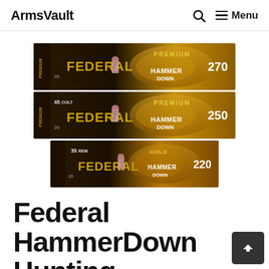ArmsVault  🔍  ☰ Menu
[Figure (photo): Three boxes of Federal Premium HammerDown ammunition stacked: top box shows 270 grain, middle box shows 45 Colt 250 grain, bottom box shows 35 Rem 220 grain. All boxes are dark with gold Federal Premium branding and HammerDown logo.]
Federal HammerDown Hunting Ammunition for Lever-Action